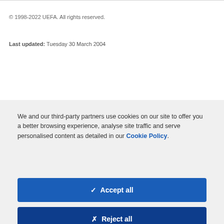© 1998-2022 UEFA. All rights reserved.
Last updated: Tuesday 30 March 2004
We and our third-party partners use cookies on our site to offer you a better browsing experience, analyse site traffic and serve personalised content as detailed in our Cookie Policy.
✓  Accept all
✗  Reject all
Cookie settings >